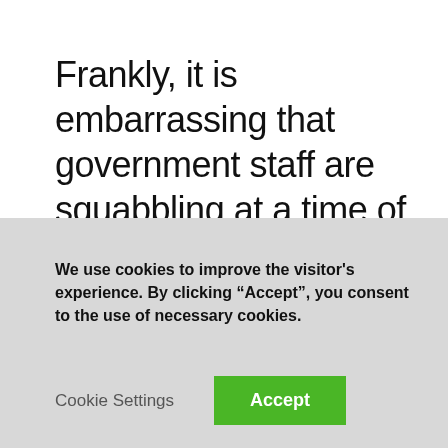Frankly, it is embarrassing that government staff are squabbling at a time of national crisis.
Yet we cannot allow this to distract from the catastrophic situation that their incompetence has landed us in
We use cookies to improve the visitor's experience. By clicking “Accept”, you consent to the use of necessary cookies.
Cookie Settings
Accept